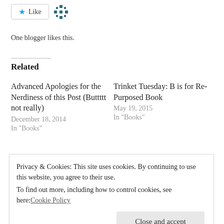[Figure (other): Like button with star icon and a decorative pixel/snowflake icon next to it]
One blogger likes this.
Related
Advanced Apologies for the Nerdiness of this Post (Buttttt not really)
December 18, 2014
In "Books"
Trinket Tuesday: B is for Re-Purposed Book
May 19, 2015
In "Books"
Musings and Such (Sunset Included)
April 10, 2015
Privacy & Cookies: This site uses cookies. By continuing to use this website, you agree to their use.
To find out more, including how to control cookies, see here: Cookie Policy
Close and accept